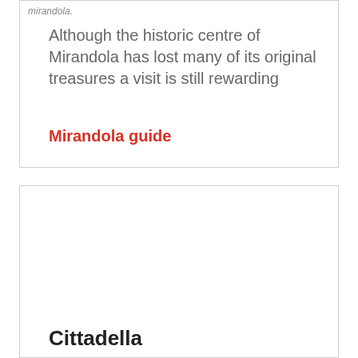mirandola.
Although the historic centre of Mirandola has lost many of its original treasures a visit is still rewarding
Mirandola guide
Cittadella